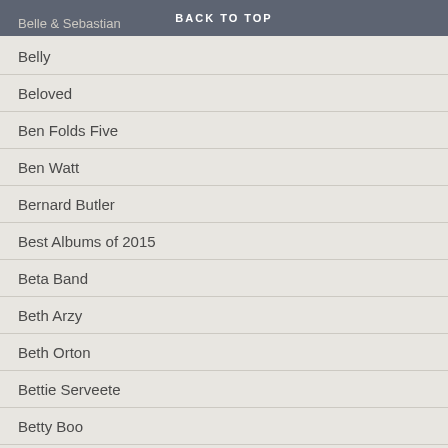BACK TO TOP
Belle & Sebastian
Belly
Beloved
Ben Folds Five
Ben Watt
Bernard Butler
Best Albums of 2015
Beta Band
Beth Arzy
Beth Orton
Bettie Serveete
Betty Boo
Bettye Swann